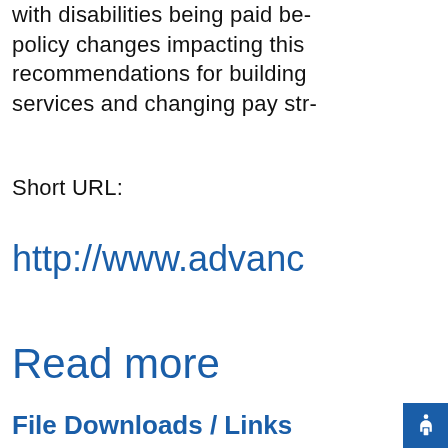with disabilities being paid be- policy changes impacting this recommendations for building services and changing pay str-
Short URL:
http://www.advanc
Read more
File Downloads / Links